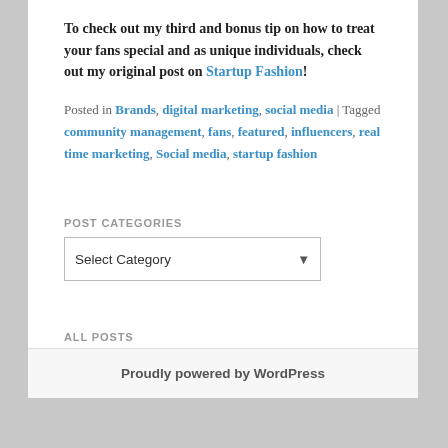To check out my third and bonus tip on how to treat your fans special and as unique individuals, check out my original post on Startup Fashion!
Posted in Brands, digital marketing, social media | Tagged community management, fans, featured, influencers, real time marketing, Social media, startup fashion
POST CATEGORIES
Select Category
ALL POSTS
Select Month
Proudly powered by WordPress